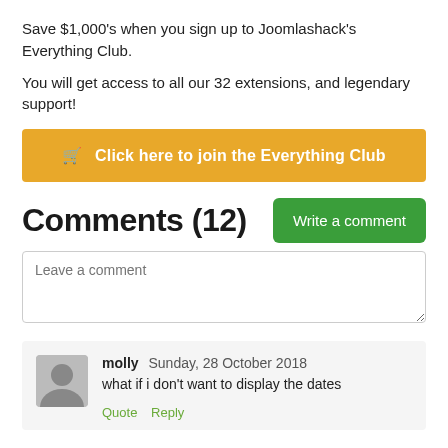Save $1,000's when you sign up to Joomlashack's Everything Club.
You will get access to all our 32 extensions, and legendary support!
🛒 Click here to join the Everything Club
Comments (12)
Write a comment
Leave a comment
molly Sunday, 28 October 2018
what if i don't want to display the dates
Quote  Reply